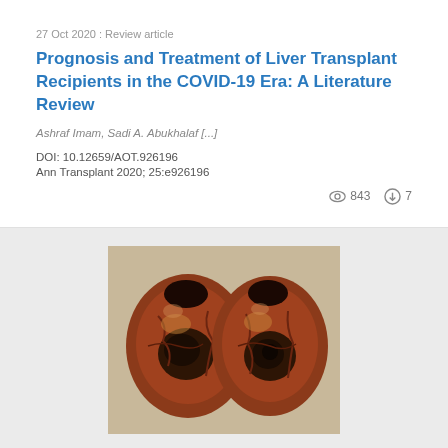27 Oct 2020 : Review article
Prognosis and Treatment of Liver Transplant Recipients in the COVID-19 Era: A Literature Review
Ashraf Imam, Sadi A. Abukhalaf [...]
DOI: 10.12659/AOT.926196
Ann Transplant 2020; 25:e926196
843 views, 7 downloads
[Figure (photo): Photograph showing two cross-sections of a liver, displaying dark necrotic areas with reddish-brown tissue, suggestive of liver pathology.]